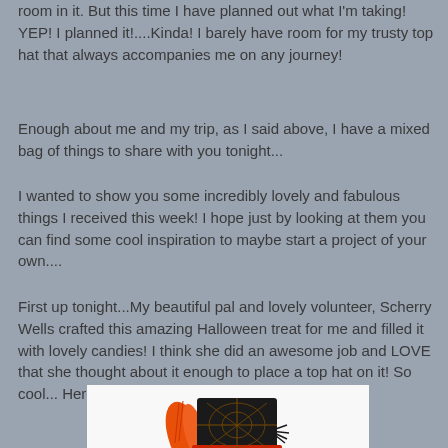room in it. But this time I have planned out what I'm taking! YEP! I planned it!....Kinda! I barely have room for my trusty top hat that always accompanies me on any journey!
Enough about me and my trip, as I said above, I have a mixed bag of things to share with you tonight...
I wanted to show you some incredibly lovely and fabulous things I received this week! I hope just by looking at them you can find some cool inspiration to maybe start a project of your own....
First up tonight...My beautiful pal and lovely volunteer, Scherry Wells crafted this amazing Halloween treat for me and filled it with lovely candies! I think she did an awesome job and LOVE that she thought about it enough to place a top hat on it! So cool... Here is her wonderful gift....
[Figure (photo): A Halloween-themed decorative hat in orange and black with spider web design and orange feather decoration]